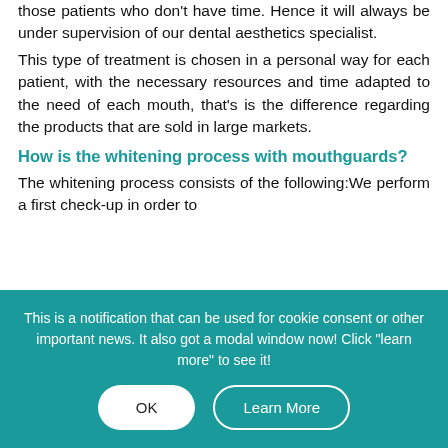those patients who don't have time. Hence it will always be under supervision of our dental aesthetics specialist.
This type of treatment is chosen in a personal way for each patient, with the necessary resources and time adapted to the need of each mouth, that's is the difference regarding the products that are sold in large markets.
How is the whitening process with mouthguards?
The whitening process consists of the following:We perform a first check-up in order to
This is a notification that can be used for cookie consent or other important news. It also got a modal window now! Click "learn more" to see it!
OK
Learn More